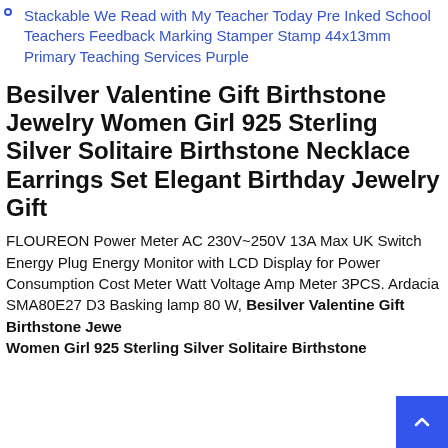Stackable We Read with My Teacher Today Pre Inked School Teachers Feedback Marking Stamper Stamp 44x13mm Primary Teaching Services Purple
Besilver Valentine Gift Birthstone Jewelry Women Girl 925 Sterling Silver Solitaire Birthstone Necklace Earrings Set Elegant Birthday Jewelry Gift
FLOUREON Power Meter AC 230V~250V 13A Max UK Switch Energy Plug Energy Monitor with LCD Display for Power Consumption Cost Meter Watt Voltage Amp Meter 3PCS. Ardacia SMA80E27 D3 Basking lamp 80 W, Besilver Valentine Gift Birthstone Jewelry Women Girl 925 Sterling Silver Solitaire Birthstone